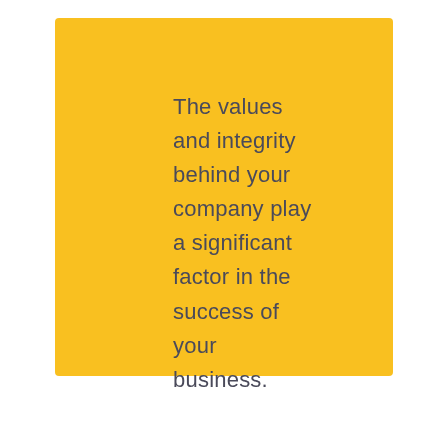The values and integrity behind your company play a significant factor in the success of your business.